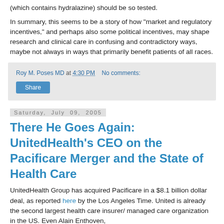(which contains hydralazine) should be so tested.
In summary, this seems to be a story of how "market and regulatory incentives," and perhaps also some political incentives, may shape research and clinical care in confusing and contradictory ways, maybe not always in ways that primarily benefit patients of all races.
Roy M. Poses MD at 4:30 PM   No comments:
Share
Saturday, July 09, 2005
There He Goes Again: UnitedHealth's CEO on the Pacificare Merger and the State of Health Care
UnitedHealth Group has acquired Pacificare in a $8.1 billion dollar deal, as reported here by the Los Angeles Time. United is already the second largest health care insurer/ managed care organization in the US. Even Alain Enthoven,